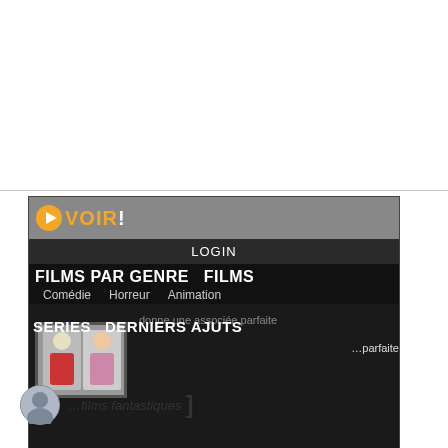[Figure (screenshot): Screenshot of a French movie streaming website called 'VOIR!' showing navigation menu with 'FILMS PAR GENRE', 'FILMS', genres like Comédie, Horreur, Animation, and sections for SERIES, DERNIERS AJOUTS. Footer shows Siteprice.org badge, 'Assassination' and 'ANNEE: 365'.]
[Figure (illustration): Partial avatar/profile icon and italic text fragment visible at bottom of page.]